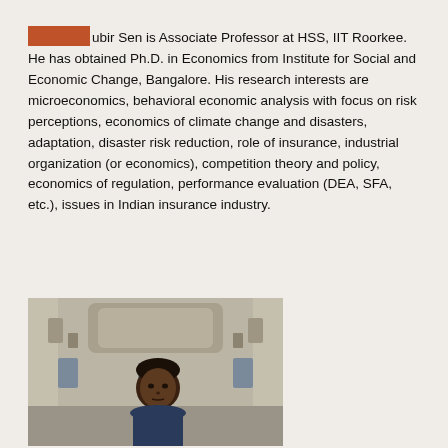[REDACTED]ubir Sen is Associate Professor at HSS, IIT Roorkee. He has obtained Ph.D. in Economics from Institute for Social and Economic Change, Bangalore. His research interests are microeconomics, behavioral economic analysis with focus on risk perceptions, economics of climate change and disasters, adaptation, disaster risk reduction, role of insurance, industrial organization (or economics), competition theory and policy, economics of regulation, performance evaluation (DEA, SFA, etc.), issues in Indian insurance industry.
[Figure (photo): Photograph of a man standing in front of an ornate stone building with decorative architectural details. The man has dark hair and is looking at the camera.]